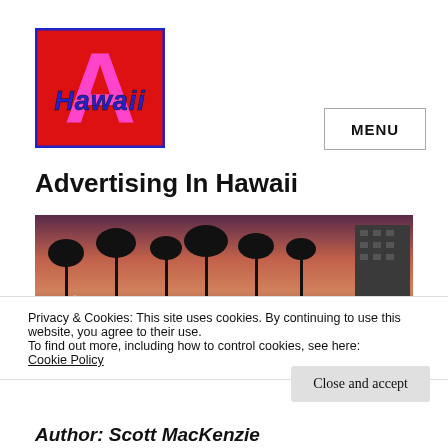[Figure (logo): Advertising In Hawaii logo: red square background with large pink letter A and blue bold text 'Hawaii' overlaid]
MENU
Advertising In Hawaii
[Figure (photo): Panoramic photo of Waikiki at sunset with palm trees silhouetted against a pink-purple sky and a hotel building on the right]
Privacy & Cookies: This site uses cookies. By continuing to use this website, you agree to their use.
To find out more, including how to control cookies, see here:
Cookie Policy
Close and accept
Author: Scott MacKenzie